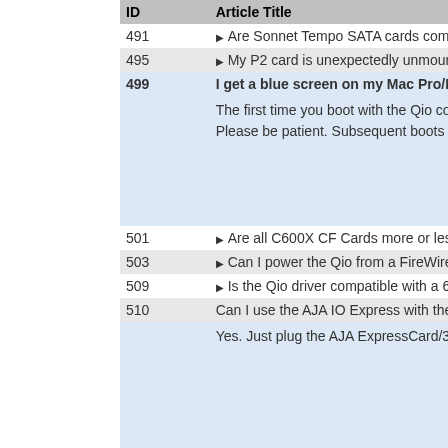| ID | Article Title |
| --- | --- |
| 491 | ▶ Are Sonnet Tempo SATA cards compatible with the Drobo |
| 495 | ▶ My P2 card is unexpectedly unmounting from my Qio after |
| 499 | I get a blue screen on my Mac Pro/MacBook Pro instea |
|  | The first time you boot with the Qio connected, the screen... Please be patient. Subsequent boots should be normal. N |
| 501 | ▶ Are all C600X CF Cards more or less equal performance i |
| 503 | ▶ Can I power the Qio from a FireWire port on a MacBook Pr |
| 509 | ▶ Is the Qio driver compatible with a 64-bit kernel boot of OS |
| 510 | Can I use the AJA IO Express with the Sonnet Qio in a Ma |
|  | Yes. Just plug the AJA ExpressCard/34 adapter into one o |
| 512 | My Qio was working fine with my ExpressCard/34 bus int... |